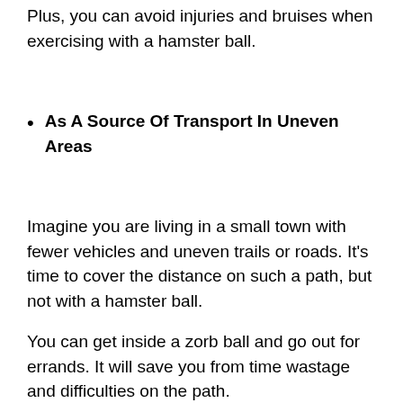Plus, you can avoid injuries and bruises when exercising with a hamster ball.
As A Source Of Transport In Uneven Areas
Imagine you are living in a small town with fewer vehicles and uneven trails or roads. It's time to cover the distance on such a path, but not with a hamster ball.
You can get inside a zorb ball and go out for errands. It will save you from time wastage and difficulties on the path.
So it can be used as a source of transportation